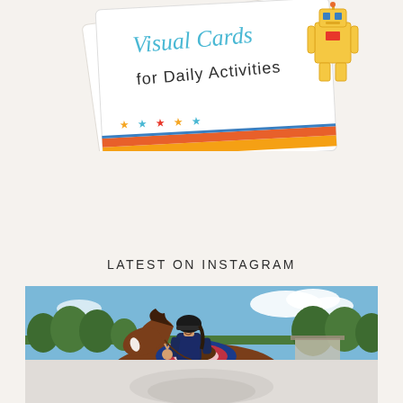[Figure (photo): Partial view of colorful educational 'Visual Cards for Daily Activities' product with decorative stars and a robot illustration on a cream/off-white background]
LATEST ON INSTAGRAM
[Figure (photo): Young girl wearing a black riding helmet and navy blue outfit sitting on a brown horse with a blue, red and white saddle pad. She is giving a peace sign and smiling. Background shows green trees and blue sky with white clouds on a grassy field.]
[Figure (photo): Bottom portion of a second Instagram photo showing faded/washed out lower portion of what appears to be another horse-related image]